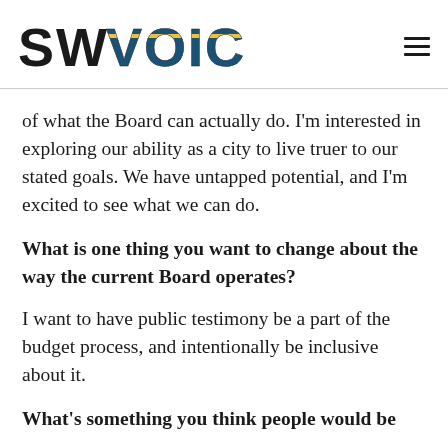SW VOICES
of what the Board can actually do. I'm interested in exploring our ability as a city to live truer to our stated goals. We have untapped potential, and I'm excited to see what we can do.
What is one thing you want to change about the way the current Board operates?
I want to have public testimony be a part of the budget process, and intentionally be inclusive about it.
What's something you think people would be